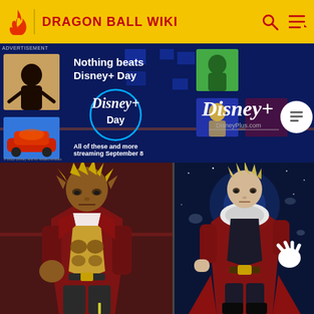DRAGON BALL WIKI
[Figure (screenshot): Disney+ Day advertisement banner on dark blue background showing 'Nothing beats Disney+ Day' text, Disney+ Day circular logo, movie thumbnails, and streaming date September 8]
[Figure (illustration): Dragon Ball anime character with blonde spiky hair and pointed ears, wearing dark red coat, standing in fighting pose on reddish-brown background]
[Figure (illustration): Dragon Ball anime character with light hair and fur-trimmed red coat, standing with arms crossed in space-like blue background]